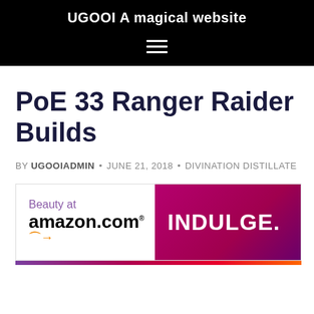UGOOI A magical website
PoE 33 Ranger Raider Builds
BY UGOOIADMIN • JUNE 21, 2018 • DIVINATION DISTILLATE
[Figure (other): Advertisement banner: 'Beauty at amazon.com' on white left side with maroon/purple gradient right side reading 'INDULGE.']